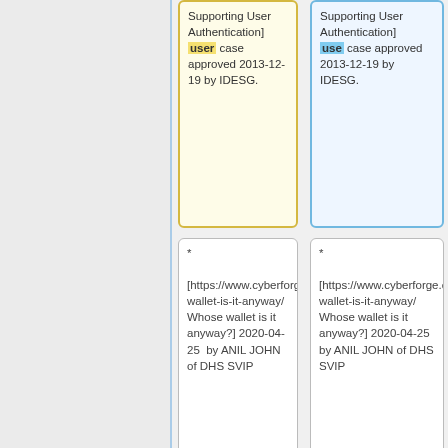Supporting User Authentication] user case approved 2013-12-19 by IDESG.
Supporting User Authentication] use case approved 2013-12-19 by IDESG.
* [https://www.cyberforge.com/whose-wallet-is-it-anyway/ Whose wallet is it anyway?] 2020-04-25 by ANIL JOHN of DHS SVIP
* [https://www.cyberforge.com/whose-wallet-is-it-anyway/ Whose wallet is it anyway?] 2020-04-25 by ANIL JOHN of DHS SVIP
In all of the following only those items that impact wallet design, deployment or testing are listed.
In all of the following only those items that impact wallet design, deployment or testing are listed.